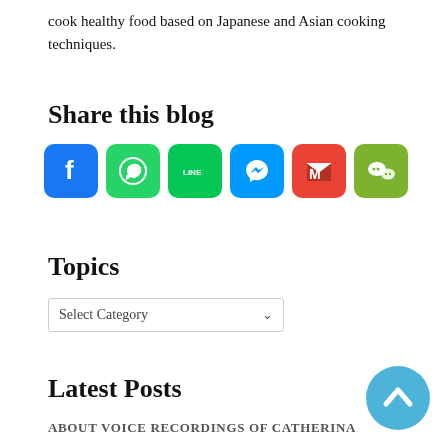cook healthy food based on Japanese and Asian cooking techniques.
Share this blog
[Figure (infographic): Six social media share buttons: Facebook (blue), WhatsApp (green), LINE (green), Messenger (blue), Gmail (red), WeChat (green)]
Topics
[Figure (screenshot): Dropdown selector labeled 'Select Category' with a chevron]
Latest Posts
ABOUT VOICE RECORDINGS OF CATHERINA
[Figure (other): Blue circular back-to-top button with upward chevron icon]